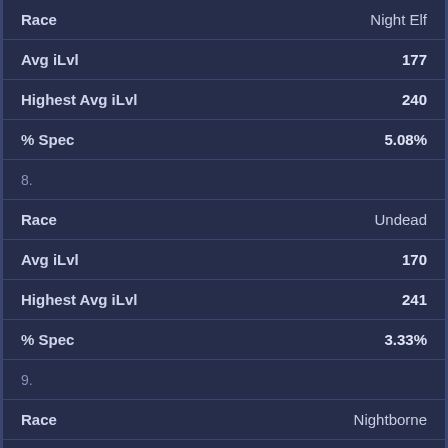| Field | Value |
| --- | --- |
| Race | Night Elf |
| Avg iLvl | 177 |
| Highest Avg iLvl | 240 |
| % Spec | 5.08% |
| 8. |  |
| Race | Undead |
| Avg iLvl | 170 |
| Highest Avg iLvl | 241 |
| % Spec | 3.33% |
| 9. |  |
| Race | Nightborne |
| Avg iLvl | 161 |